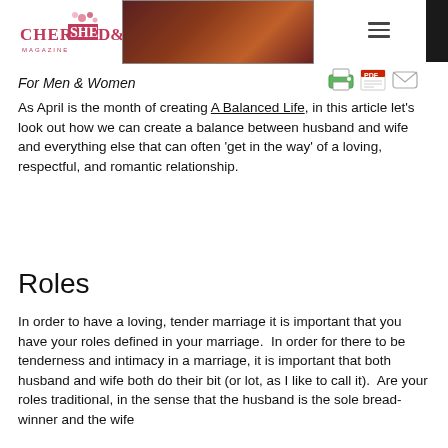[Figure (logo): Cherished magazine logo with pink/red text and floral decoration, followed by a dark brownish-red hero image]
For Men & Women
As April is the month of creating A Balanced Life, in this article let's look out how we can create a balance between husband and wife and everything else that can often 'get in the way' of a loving, respectful, and romantic relationship.
Roles
In order to have a loving, tender marriage it is important that you have your roles defined in your marriage.  In order for there to be tenderness and intimacy in a marriage, it is important that both husband and wife both do their bit (or lot, as I like to call it).  Are your roles traditional, in the sense that the husband is the sole bread-winner and the wife